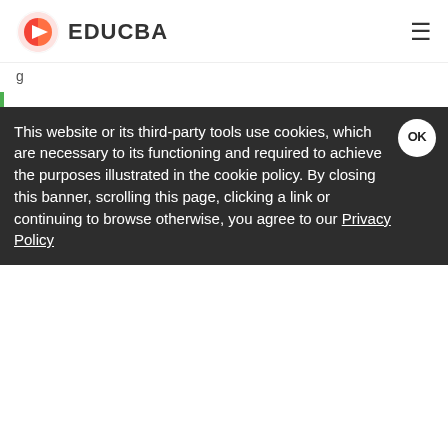EDUCBA
g
SELECT DATEADD(year,2147483648,'20070728')
SELECT DATEADD(year,-2147483649,'20070728'
The above queries statements both return an error message
7Arithmetic overflow error converting expression to data typ
8Arithmetic overflow error converting expression to data typ
resolves in date, datetime, datetimeoffset, datetime2, smallda
This website or its third-party tools use cookies, which are necessary to its functioning and required to achieve the purposes illustrated in the cookie policy. By closing this banner, scrolling this page, clicking a link or continuing to browse otherwise, you agree to our Privacy Policy